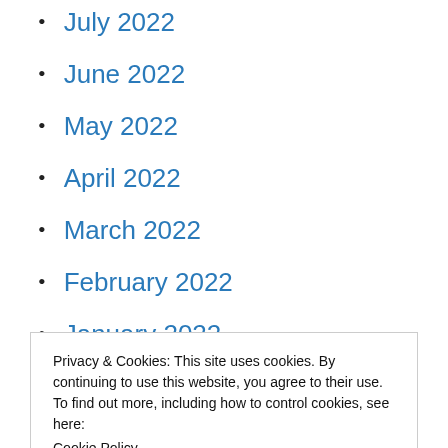July 2022
June 2022
May 2022
April 2022
March 2022
February 2022
January 2022
December 2021
November 2021
October 2021
Privacy & Cookies: This site uses cookies. By continuing to use this website, you agree to their use.
To find out more, including how to control cookies, see here: Cookie Policy
April 2021